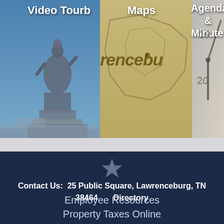[Figure (screenshot): Three image tiles: left shows a statue against blue sky (labeled 'Video Tourb...'), center shows a map of Lawrenceburg TN (labeled 'Maps'), right shows a clock face (labeled 'Agendas & Minutes')]
Contact Us:  25 Public Square, Lawrenceburg, TN 38464       Directory
Employee Resources
Property Taxes Online
Economic Development
Lawrenceburg Airport